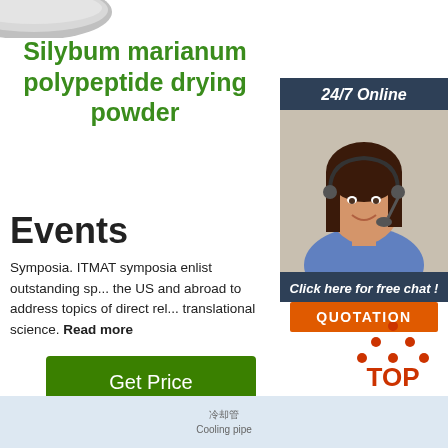[Figure (photo): Partial view of a round powder/product disk from above, gray metallic appearance]
Silybum marianum polypeptide drying powder
[Figure (photo): 24/7 Online customer service sidebar with photo of woman with headset, 'Click here for free chat!' text, and orange QUOTATION button]
Events
Symposia. ITMAT symposia enlist outstanding sp... the US and abroad to address topics of direct rel... translational science. Read more
[Figure (other): Green 'Get Price' button]
[Figure (logo): TOP logo with orange dots arranged in triangle above orange TOP text]
[Figure (photo): Bottom product image with Chinese text 冷却管 and English text Cooling pipe]